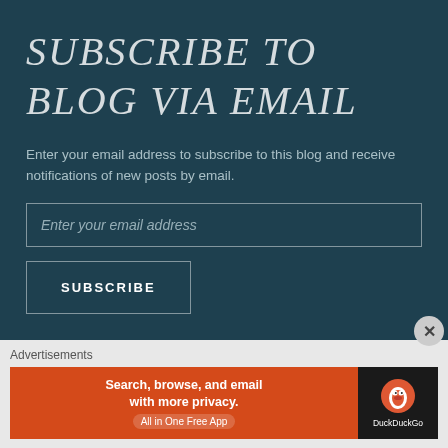SUBSCRIBE TO BLOG VIA EMAIL
Enter your email address to subscribe to this blog and receive notifications of new posts by email.
Enter your email address
SUBSCRIBE
Advertisements
[Figure (infographic): DuckDuckGo advertisement banner: orange left section with text 'Search, browse, and email with more privacy. All in One Free App', and dark right section with DuckDuckGo duck logo and brand name.]